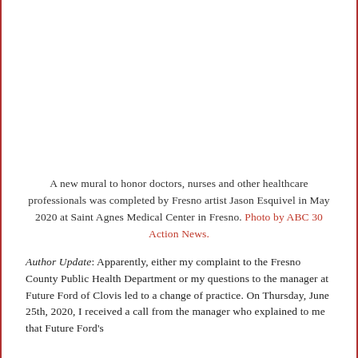[Figure (photo): Photo placeholder area at top of page — mural honoring doctors, nurses and healthcare professionals by Fresno artist Jason Esquivel at Saint Agnes Medical Center]
A new mural to honor doctors, nurses and other healthcare professionals was completed by Fresno artist Jason Esquivel in May 2020 at Saint Agnes Medical Center in Fresno. Photo by ABC 30 Action News.
Author Update: Apparently, either my complaint to the Fresno County Public Health Department or my questions to the manager at Future Ford of Clovis led to a change of practice. On Thursday, June 25th, 2020, I received a call from the manager who explained to me that Future Ford's